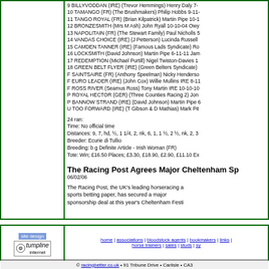9 BILLYVODDAN (IRE) (Trevor Hemmings) Henry Daly 7-
10 TAMANGO (FR) (The Brushmakers) Philip Hobbs 9-11-
11 TANGO ROYAL (FR) (Brian Kilpatrick) Martin Pipe 10-1
12 BRONZESMITH (Mrs M Ash) John Ryall 10-10-04 Owy
13 NAPOLITAIN (FR) (The Stewart Family) Paul Nicholls 5
14 VANDAS CHOICE (IRE) (J Petterson) Lucinda Russell
15 CAMDEN TANNER (IRE) (Famous Lads Syndicate) Ro
16 LOCKSMITH (David Johnson) Martin Pipe 6-11-11 Jam
17 REDEMPTION (Michael Purtill) Nigel Twiston-Davies 1
18 GREEN BELT FLYER (IRE) (Green Belters Syndicate)
F SAINTSAIRE (FR) (Anthony Speelman) Nicky Henderso
F EURO LEADER (IRE) (John Cox) Willie Mullins IRE 8-11
F ROSS RIVER (Seamus Ross) Tony Martin IRE 10-10-10
P ROYAL HECTOR (GER) (Three Counties Racing 2) Jon
P BANNOW STRAND (IRE) (David Johnson) Martin Pipe 6
U TOO FORWARD (IRE) (T Gibson & D Mathias) Mark Pit
24 ran:
Time: No official time
Distances: 9, 7, hd, ½, 1 1/4, 2, nk, 6, 1, 1 ½, 2 ½, nk, 2, 3
Breeder: Ecurie di Tullio
Breeding: b g Definite Article - Irish Woman (FR)
Tote: Win; £16.50 Places; £3.30, £18.90, £2.90, £11.10 Ex
The Racing Post Agrees Major Cheltenham Sp
06/02/06
The Racing Post, the UK's leading horseracing a sports betting paper, has secured a major sponsorship deal at this year's Cheltenham Festi
site design tumpline internet
home | associations | bloodstock agents | bookmakers | links | horse trainers | sales | studs | sy
© racingbetter.co.uk • 91 Tribune Drive • Carlisle • CA3